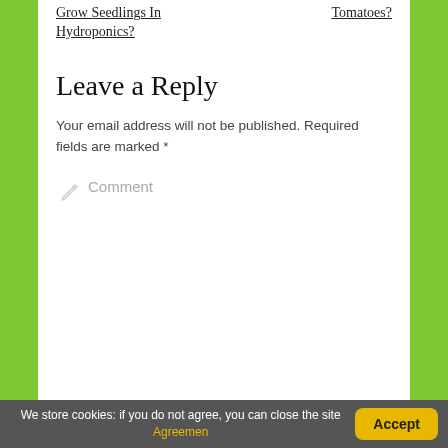Grow Seedlings In Hydroponics?
Tomatoes?
Leave a Reply
Your email address will not be published. Required fields are marked *
Comment
We store cookies: if you do not agree, you can close the site Agreemen
Accept